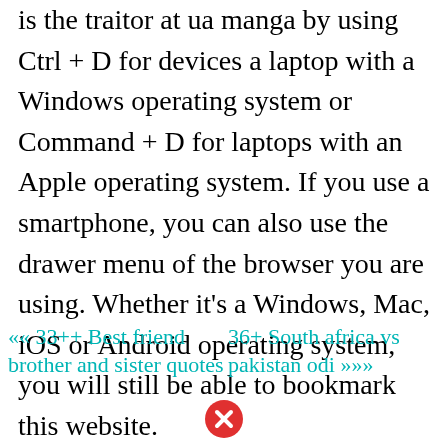is the traitor at ua manga by using Ctrl + D for devices a laptop with a Windows operating system or Command + D for laptops with an Apple operating system. If you use a smartphone, you can also use the drawer menu of the browser you are using. Whether it's a Windows, Mac, iOS or Android operating system, you will still be able to bookmark this website.
« 33++ Best friend brother and sister quotes
36+ South africa vs pakistan odi »»
[Figure (other): Red circle with white X close button icon]